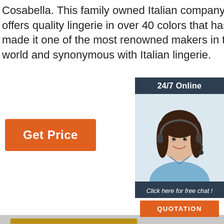Cosabella. This family owned Italian company offers quality lingerie in over 40 colors that has made it one of the most renowned makers in the world and synonymous with Italian lingerie.
[Figure (other): Orange 'Get Price' button]
[Figure (other): Online chat widget with '24/7 Online' header, female agent with headset, 'Click here for free chat!' text, and orange 'QUOTATION' button]
[Figure (photo): Yellow/mustard paper-bag-waist shorts with bow tie, two pairs shown against a gray textured background. Volfour branding and TOP logo visible on the right side.]